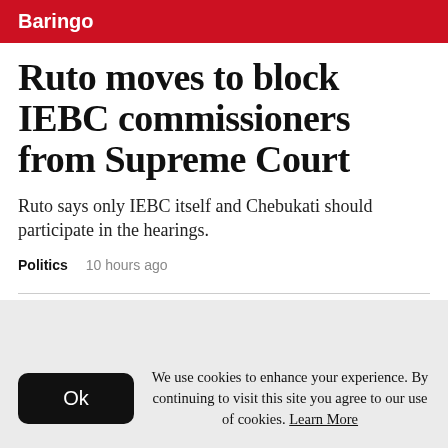Baringo
Ruto moves to block IEBC commissioners from Supreme Court
Ruto says only IEBC itself and Chebukati should participate in the hearings.
Politics   10 hours ago
We use cookies to enhance your experience. By continuing to visit this site you agree to our use of cookies. Learn More